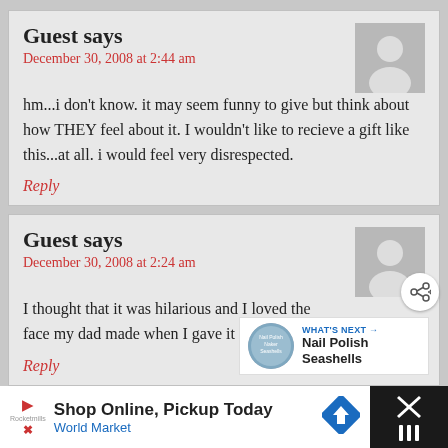Guest says
December 30, 2008 at 2:44 am
hm...i don't know. it may seem funny to give but think about how THEY feel about it. I wouldn't like to recieve a gift like this...at all. i would feel very disrespected.
Reply
Guest says
December 30, 2008 at 2:24 am
I thought that it was hilarious and I loved the face my dad made when I gave it to him.
Reply
WHAT'S NEXT → Nail Polish Seashells
Shop Online, Pickup Today World Market